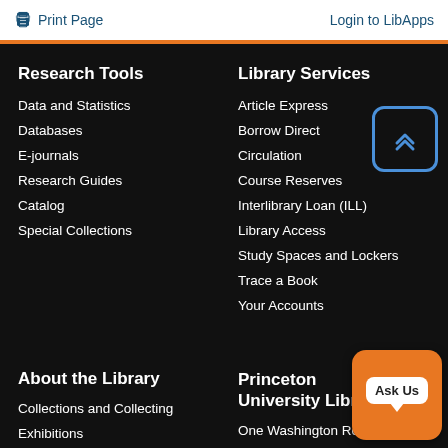Print Page   Login to LibApps
Research Tools
Data and Statistics
Databases
E-journals
Research Guides
Catalog
Special Collections
Library Services
Article Express
Borrow Direct
Circulation
Course Reserves
Interlibrary Loan (ILL)
Library Access
Study Spaces and Lockers
Trace a Book
Your Accounts
About the Library
Collections and Collecting
Exhibitions
Princeton University Library
One Washington Road